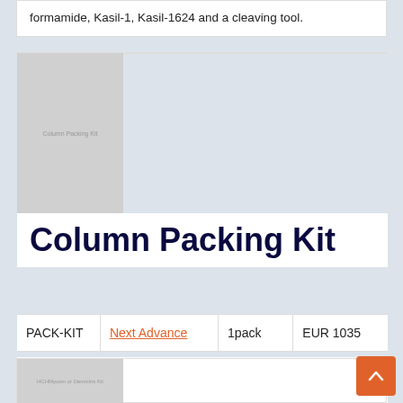formamide, Kasil-1, Kasil-1624 and a cleaving tool.
[Figure (photo): Product image placeholder for Column Packing Kit showing grey box with text 'Column Packing Kit']
Column Packing Kit
| PACK-KIT | Next Advance | 1pack | EUR 1035 |
| --- | --- | --- | --- |
Description: Column packing kit for pressure cells. Includes: HPREG regulator, TBNG10 tubing, CAP-75 capillary, and STRB5X2 stir bar.
[Figure (photo): Product image placeholder for HCHMyosin or Demixins Kit showing grey box with text]